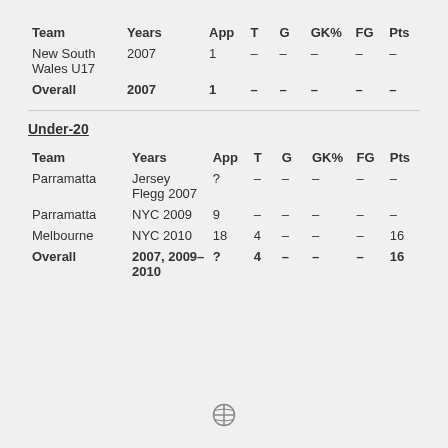| Team | Years | App | T | G | GK% | FG | Pts |
| --- | --- | --- | --- | --- | --- | --- | --- |
| New South Wales U17 | 2007 | 1 | – | – | – | – | – |
| Overall | 2007 | 1 | – | – | – | – | – |
Under-20
| Team | Years | App | T | G | GK% | FG | Pts |
| --- | --- | --- | --- | --- | --- | --- | --- |
| Parramatta | Jersey Flegg 2007 | ? | – | – | – | – | – |
| Parramatta | NYC 2009 | 9 | – | – | – | – | – |
| Melbourne | NYC 2010 | 18 | 4 | – | – | – | 16 |
| Overall | 2007, 2009–2010 | ? | 4 | – | – | – | 16 |
WordPress logo